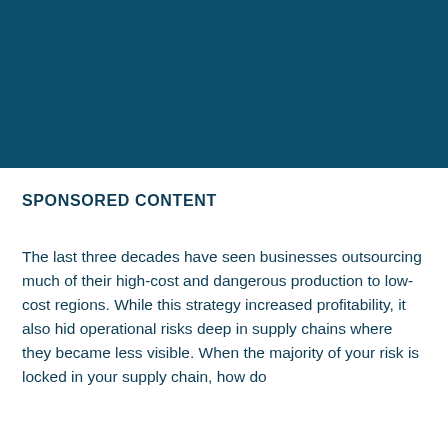[Figure (other): Dark teal/navy blue solid color rectangular image block at the top of the page]
SPONSORED CONTENT
The last three decades have seen businesses outsourcing much of their high-cost and dangerous production to low-cost regions. While this strategy increased profitability, it also hid operational risks deep in supply chains where they became less visible. When the majority of your risk is locked in your supply chain, how do